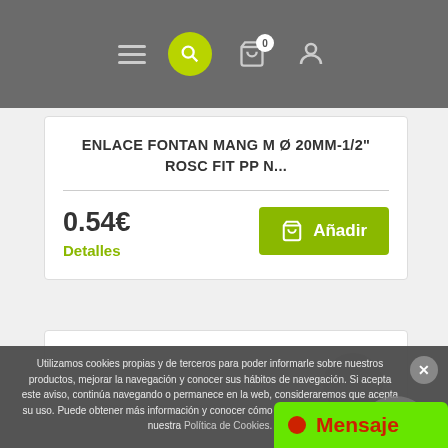Navigation header with hamburger menu, search button, cart (0), and user icon
ENLACE FONTAN MANG M Ø 20MM-1/2" ROSC FIT PP N...
0.54€
Detalles
Añadir
Utilizamos cookies propias y de terceros para poder informarle sobre nuestros productos, mejorar la navegación y conocer sus hábitos de navegación. Si acepta este aviso, continúa navegando o permanece en la web, consideraremos que acepta su uso. Puede obtener más información y conocer cómo cambiar la configuración en nuestra Política de Cookies.
Mensaje